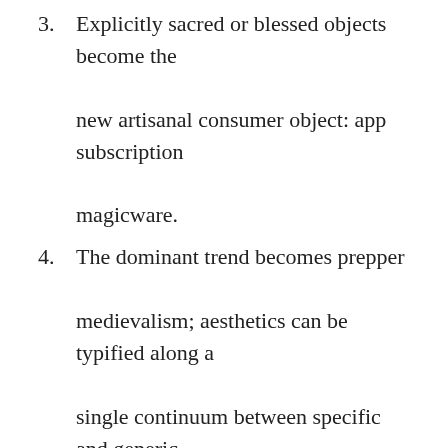3. Explicitly sacred or blessed objects become the new artisanal consumer object: app subscription magicware.
4. The dominant trend becomes prepper medievalism; aesthetics can be typified along a single continuum between specific and generic.
5. Two or three AR games rewire 40% of humanity’s social graph.
6. The distinction between financial and social software applications totally disappears.
7. Price will be so absolutely identified with objects and information that currency will function as